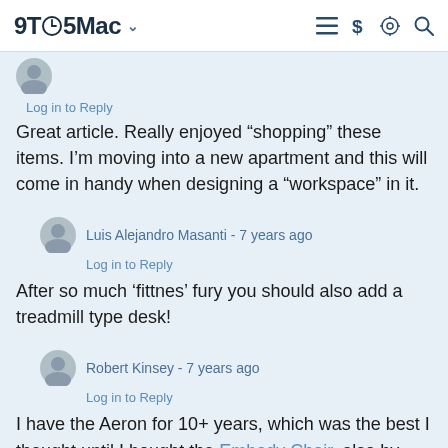9TO5Mac
Log in to Reply
Great article. Really enjoyed “shopping” these items. I’m moving into a new apartment and this will come in handy when designing a “workspace” in it.
Luis Alejandro Masanti - 7 years ago
Log in to Reply
After so much ‘fittnes’ fury you should also add a treadmill type desk!
Robert Kinsey - 7 years ago
Log in to Reply
I have the Aeron for 10+ years, which was the best I thought until I bought the Embody Chair, also by Herman Miller, 3 years ago. Embody, for me, blows away the Aeron in support and overall comfort.